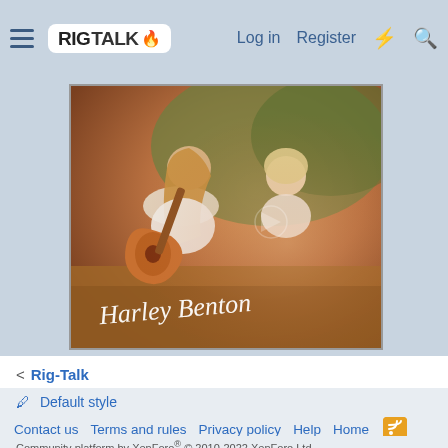RIG TALK — Log in | Register
[Figure (photo): Harley Benton promotional photo showing a man with long hair playing acoustic guitar and a woman standing behind him, outdoors with warm orange tones and haze, with 'Harley Benton' script logo overlaid at the bottom left]
< Rig-Talk
🖊 Default style
Contact us   Terms and rules   Privacy policy   Help   Home   [RSS icon]
Community platform by XenForo® © 2010-2022 XenForo Ltd.